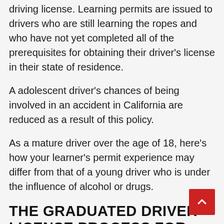driving license. Learning permits are issued to drivers who are still learning the ropes and who have not yet completed all of the prerequisites for obtaining their driver's license in their state of residence.
A adolescent driver's chances of being involved in an accident in California are reduced as a result of this policy.
As a mature driver over the age of 18, here's how your learner's permit experience may differ from that of a young driver who is under the influence of alcohol or drugs.
THE GRADUATED DRIVER LICENSE PROCESS FOR